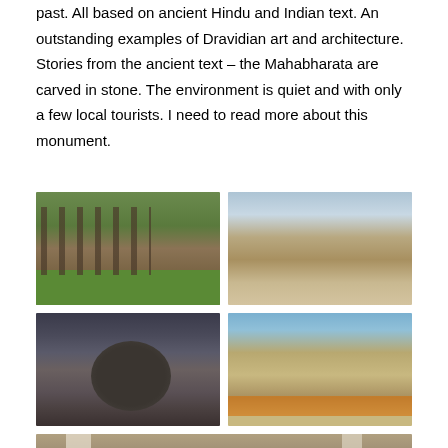past. All based on ancient Hindu and Indian text. An outstanding examples of Dravidian art and architecture. Stories from the ancient text – the Mahabharata are carved in stone. The environment is quiet and with only a few local tourists. I need to read more about this monument.
[Figure (photo): Cave temple with stone pillars and green grass lawn, Mahabalipuram]
[Figure (photo): Five Rathas stone temple complex with multiple towers, Mahabalipuram]
[Figure (photo): Krishna's Butter Ball – large balanced granite boulder on a slope with tourists below]
[Figure (photo): Arjuna's Penance – large rock relief carving with colorfully dressed tourists in foreground]
[Figure (photo): Interior of stone temple with large carved pillars, close-up view]